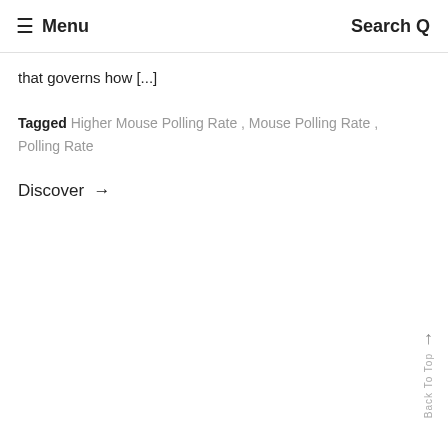≡ Menu   Search Q
that governs how [...]
Tagged Higher Mouse Polling Rate , Mouse Polling Rate , Polling Rate
Discover →
↑ Back To Top